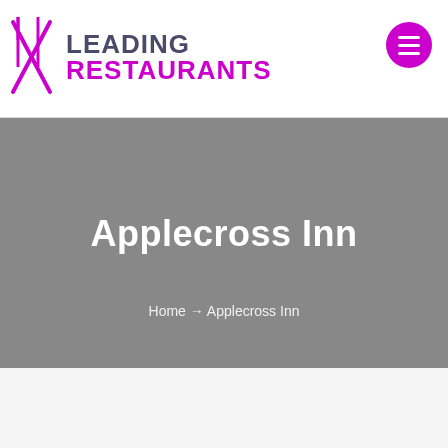Leading Restaurants
Applecross Inn
Home → Applecross Inn
Restaurant Overview
Listed
THE MICHELIN GUIDE